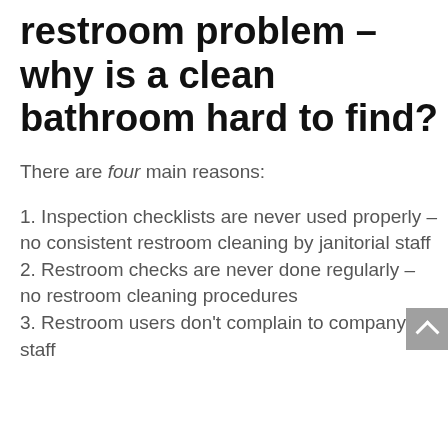restroom problem – why is a clean bathroom hard to find?
There are four main reasons:
1. Inspection checklists are never used properly – no consistent restroom cleaning by janitorial staff
2. Restroom checks are never done regularly – no restroom cleaning procedures
3. Restroom users don't complain to company staff